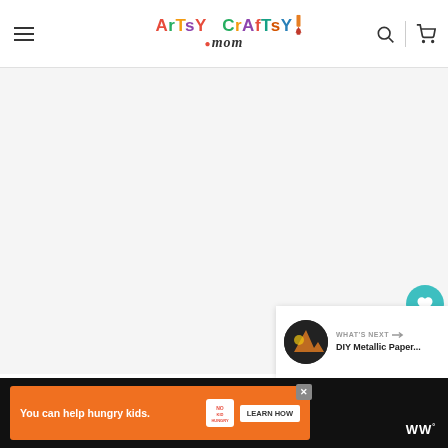[Figure (logo): Artsy Craftsy Mom website logo with colorful lettering and hamburger menu, search, and cart icons in header]
[Figure (screenshot): Main content area, light gray background, blank article image area]
[Figure (other): Heart/like button (teal circle with heart icon), count 245, and share button sidebar]
245
WHAT'S NEXT → DIY Metallic Paper...
[Figure (infographic): Advertisement bar: You can help hungry kids. No Kid Hungry logo. LEARN HOW button. WW logo.]
You can help hungry kids.
LEARN HOW